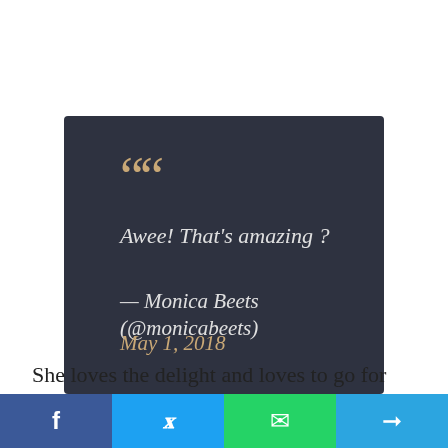[Figure (other): Dark gray quote box with large golden quotation marks, italic white quote text reading 'Awee! That's amazing ?', attribution '— Monica Beets (@monicabeets)' in white italic, and date 'May 1, 2018' in golden italic]
She loves the delight and loves to go for trips and the experiences you'd undergo through the travelling. Park Schnabel was among her co-
[Figure (other): Social share bar with four buttons: Facebook (blue), Twitter (cyan), WhatsApp (green), Telegram (blue), each with an icon]